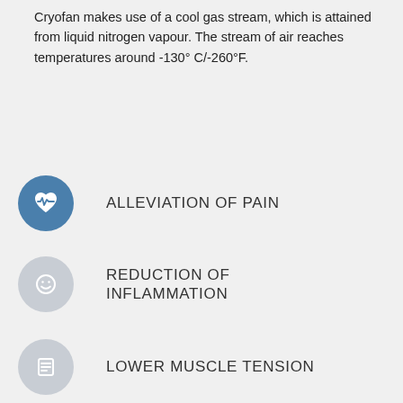Cryofan makes use of a cool gas stream, which is attained from liquid nitrogen vapour. The stream of air reaches temperatures around -130° C/-260°F.
ALLEVIATION OF PAIN
REDUCTION OF INFLAMMATION
LOWER MUSCLE TENSION